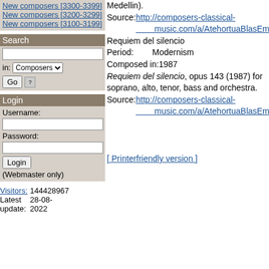New composers [3300-3399]
New composers [3200-3299]
New composers [3100-3199]
Search
Login
Username:
Password:
(Webmaster only)
Visitors: 144428967
Latest update: 28-08-2022
Medellin).
Source: http://composers-classical-music.com/a/AtehortuaBlasEmilio.htm
Requiem del silencio
Period: Modernism
Composed in:1987
Requiem del silencio, opus 143 (1987) for soprano, alto, tenor, bass and orchestra.
Source: http://composers-classical-music.com/a/AtehortuaBlasEmilio.htm
[ Printerfriendly version ]